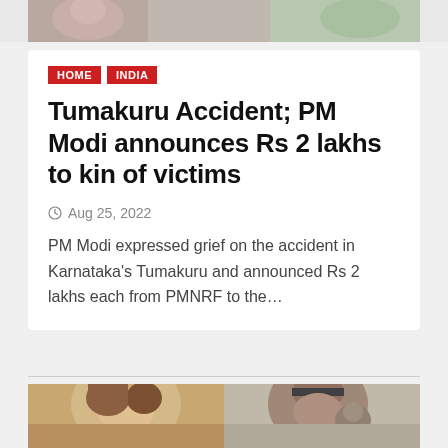[Figure (photo): Partial photo strip of people at top of page]
HOME
INDIA
Tumakuru Accident; PM Modi announces Rs 2 lakhs to kin of victims
Aug 25, 2022
PM Modi expressed grief on the accident in Karnataka's Tumakuru and announced Rs 2 lakhs each from PMNRF to the...
[Figure (photo): Two photos at bottom: woman on left, man with child on right]